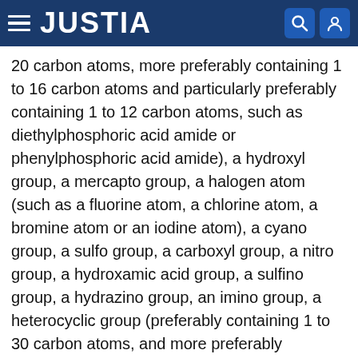JUSTIA
20 carbon atoms, more preferably containing 1 to 16 carbon atoms and particularly preferably containing 1 to 12 carbon atoms, such as diethylphosphoric acid amide or phenylphosphoric acid amide), a hydroxyl group, a mercapto group, a halogen atom (such as a fluorine atom, a chlorine atom, a bromine atom or an iodine atom), a cyano group, a sulfo group, a carboxyl group, a nitro group, a hydroxamic acid group, a sulfino group, a hydrazino group, an imino group, a heterocyclic group (preferably containing 1 to 30 carbon atoms, and more preferably containing 1 to 12 carbon atoms, and including a nitrogen atom, an oxygen atom, or a sulfur atom as a hetero atom, such as imidazolyl, pyridyl, quinolyl, furyl, piperidyl, morpholino, benzoxazolyl, benzimidazolyl or benzothiazolyl), and a silyl group (preferably containing 3 to 40 carbon atoms, more preferably containing 3 to 30 carbon atoms and